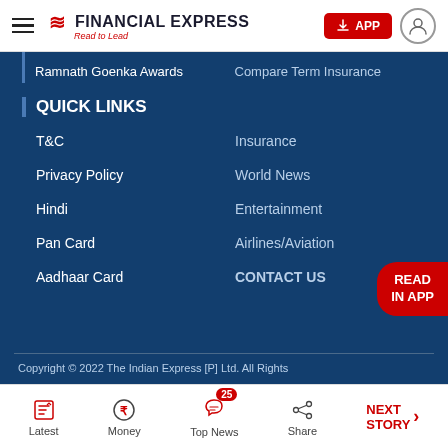Financial Express — Read to Lead
Ramnath Goenka Awards
Compare Term Insurance
QUICK LINKS
T&C
Insurance
Privacy Policy
World News
Hindi
Entertainment
Pan Card
Airlines/Aviation
Aadhaar Card
CONTACT US
READ IN APP
Copyright © 2022 The Indian Express [P] Ltd. All Rights
Latest | Money | Top News 25 | Share | NEXT STORY